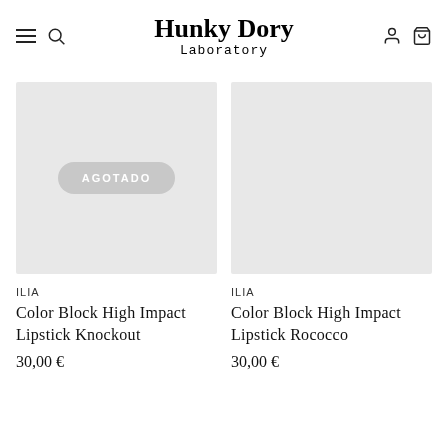Hunky Dory Laboratory
[Figure (other): Product image placeholder with AGOTADO (sold out) badge, light gray background]
ILIA
Color Block High Impact Lipstick Knockout
30,00 €
[Figure (other): Product image placeholder, light gray background, no badge]
ILIA
Color Block High Impact Lipstick Rococco
30,00 €